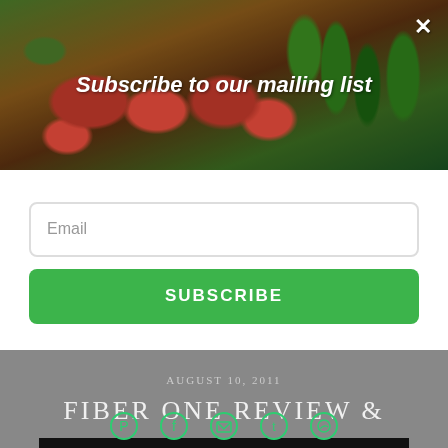[Figure (photo): Hero image of vegetables including tomatoes, peppers, cucumbers at a market, with overlay text 'Subscribe to our mailing list' and a close (X) button]
Subscribe to our mailing list
Email
SUBSCRIBE
AUGUST 10, 2011
FIBER ONE REVIEW &
[Figure (other): Advertisement banner: 'WHAT IS YOUR KID FEELING? GET SONGS TO SOUND IT OUT.' with Sound It Out logo, Ad Council, and Pivotal branding]
[Figure (other): Social media icon row: Pinterest, Facebook, Email, Twitter, WhatsApp]